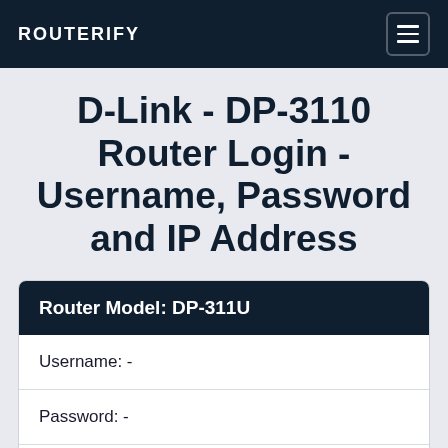ROUTERIFY
D-Link - DP-3110 Router Login - Username, Password and IP Address
| Field | Value |
| --- | --- |
| Username: | - |
| Password: | - |
| IP Address: | 192.168.0.10 |